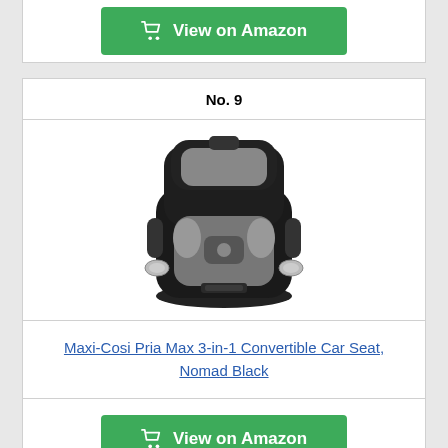[Figure (other): Green 'View on Amazon' button with shopping cart icon at top of page]
No. 9
[Figure (photo): Maxi-Cosi Pria Max 3-in-1 Convertible Car Seat in Nomad Black color — a child car seat with black and gray upholstery, cup holders on sides, shown front-facing]
Maxi-Cosi Pria Max 3-in-1 Convertible Car Seat, Nomad Black
[Figure (other): Green 'View on Amazon' button with shopping cart icon]